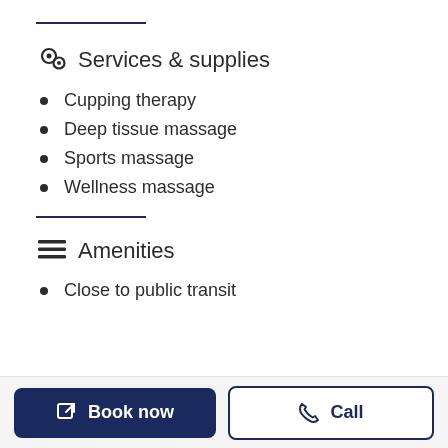Services & supplies
Cupping therapy
Deep tissue massage
Sports massage
Wellness massage
Amenities
Close to public transit